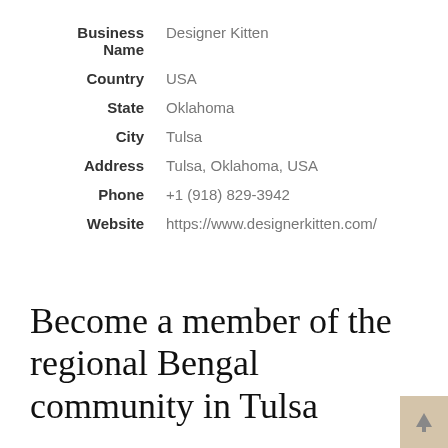| Business Name | Designer Kitten |
| Country | USA |
| State | Oklahoma |
| City | Tulsa |
| Address | Tulsa, Oklahoma, USA |
| Phone | +1 (918) 829-3942 |
| Website | https://www.designerkitten.com/ |
Become a member of the regional Bengal community in Tulsa